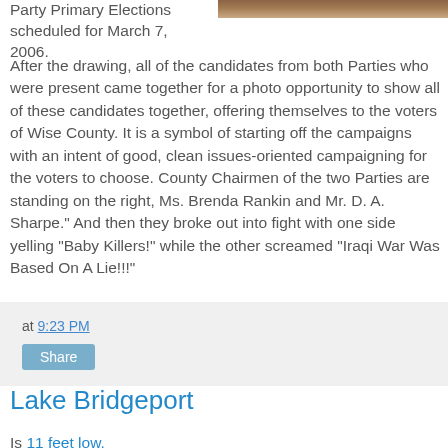[Figure (photo): Photo of candidates at primary election event, partially visible at top right]
Party Primary Elections scheduled for March 7, 2006.
After the drawing, all of the candidates from both Parties who were present came together for a photo opportunity to show all of these candidates together, offering themselves to the voters of Wise County. It is a symbol of starting off the campaigns with an intent of good, clean issues-oriented campaigning for the voters to choose. County Chairmen of the two Parties are standing on the right, Ms. Brenda Rankin and Mr. D. A. Sharpe." And then they broke out into fight with one side yelling "Baby Killers!" while the other screamed "Iraqi War Was Based On A Lie!!!"
at 9:23 PM
Share
Lake Bridgeport
Is 11 feet low.